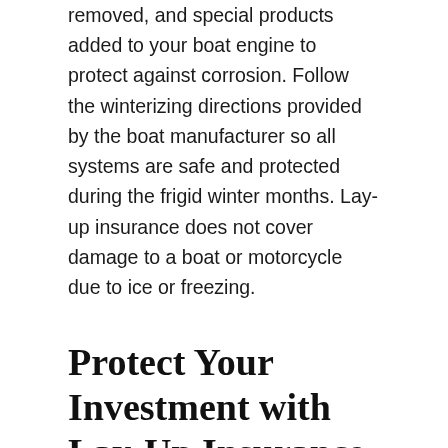removed, and special products added to your boat engine to protect against corrosion. Follow the winterizing directions provided by the boat manufacturer so all systems are safe and protected during the frigid winter months. Lay-up insurance does not cover damage to a boat or motorcycle due to ice or freezing.
Protect Your Investment with Lay-Up Insurance
Whether you own a bike, a boat, or both, speak with one of our local insurance agents about lay-up insurance. The cost savings are significant, and the risk of losing